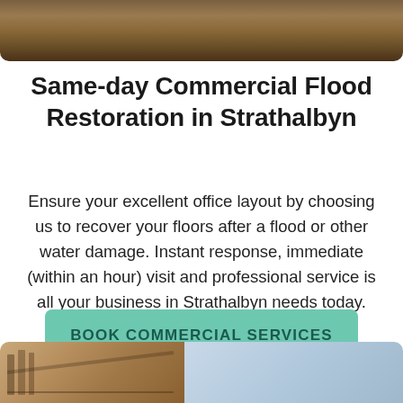[Figure (photo): Top image showing flooded floor with water reflection, brown tones]
Same-day Commercial Flood Restoration in Strathalbyn
Ensure your excellent office layout by choosing us to recover your floors after a flood or other water damage. Instant response, immediate (within an hour) visit and professional service is all your business in Strathalbyn needs today. Take your free quote now.
BOOK COMMERCIAL SERVICES
[Figure (photo): Bottom image showing interior of a building with shelves on the left and a lighter background on the right]